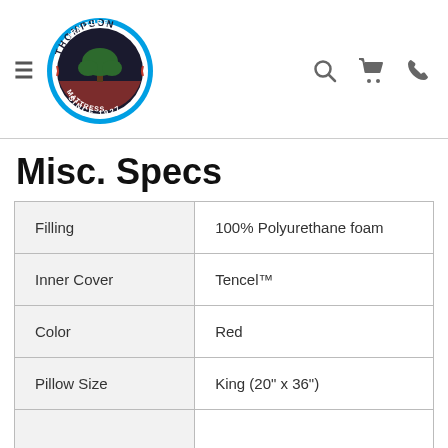Thompson Furniture Mattress Since 1927
Misc. Specs
|  |  |
| --- | --- |
| Filling | 100% Polyurethane foam |
| Inner Cover | Tencel™ |
| Color | Red |
| Pillow Size | King (20" x 36") |
|  |  |